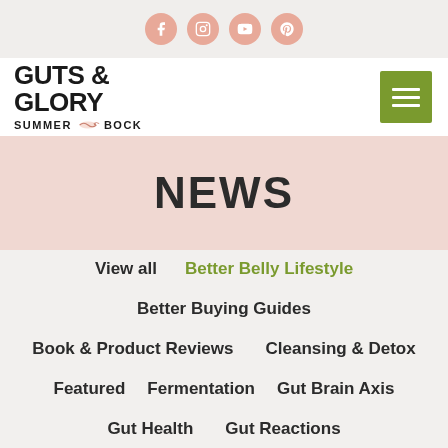[Figure (other): Social media icons: Facebook, Instagram, YouTube, Pinterest in pink circles]
[Figure (logo): Guts & Glory Summer Bock logo with bird illustration]
NEWS
View all
Better Belly Lifestyle
Better Buying Guides
Book & Product Reviews
Cleansing & Detox
Featured
Fermentation
Gut Brain Axis
Gut Health
Gut Reactions